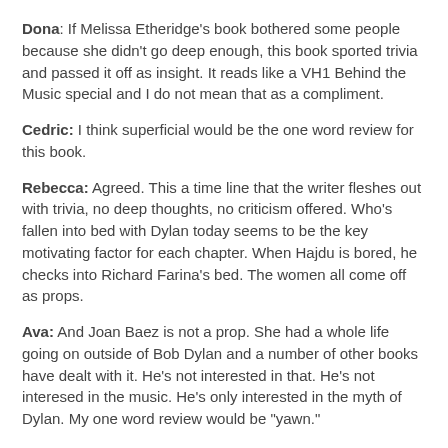Dona: If Melissa Etheridge's book bothered some people because she didn't go deep enough, this book sported trivia and passed it off as insight. It reads like a VH1 Behind the Music special and I do not mean that as a compliment.
Cedric: I think superficial would be the one word review for this book.
Rebecca: Agreed. This a time line that the writer fleshes out with trivia, no deep thoughts, no criticism offered. Who's fallen into bed with Dylan today seems to be the key motivating factor for each chapter. When Hajdu is bored, he checks into Richard Farina's bed. The women all come off as props.
Ava: And Joan Baez is not a prop. She had a whole life going on outside of Bob Dylan and a number of other books have dealt with it. He's not interested in that. He's not interesed in the music. He's only interested in the myth of Dylan. My one word review would be "yawn."